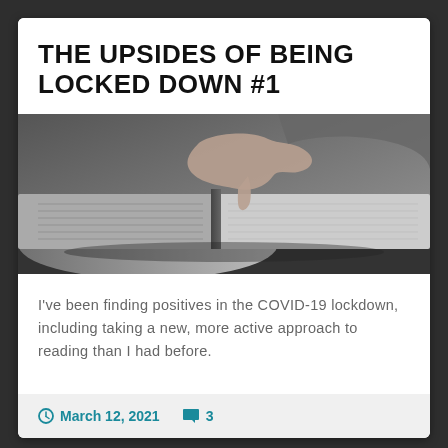THE UPSIDES OF BEING LOCKED DOWN #1
[Figure (photo): Black and white photo of a hand pointing at or turning a page in an open book]
I've been finding positives in the COVID-19 lockdown, including taking a new, more active approach to reading than I had before.
March 12, 2021   3